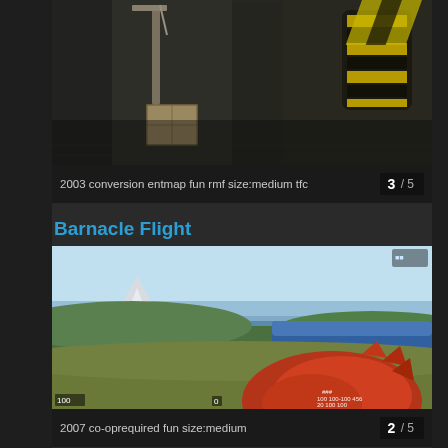[Figure (screenshot): Top portion of a dark industrial game level screenshot showing brick/stone textures, a crane or pulley structure on the left, and yellow/black hazard-striped barrels on the right]
2003 conversion entmap fun rmf size:medium tfc   3 / 5
Barnacle Flight
[Figure (screenshot): Game screenshot showing a first-person view of a barnacle creature arm/claw in the foreground, with a vast outdoor landscape featuring a snow-capped mountain, blue sky, rolling green hills, and a lake/water body in the background]
2007 co-oprequired fun size:medium   2 / 5